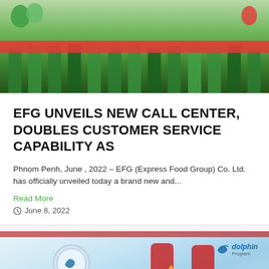[Figure (photo): Group photo of staff wearing green polo shirts standing in a row, holding a red ribbon at a ribbon-cutting ceremony with green balloons in the background]
EFG UNVEILS NEW CALL CENTER, DOUBLES CUSTOMER SERVICE CAPABILITY AS
Phnom Penh, June , 2022 – EFG (Express Food Group) Co. Ltd. has officially unveiled today a brand new and...
Read More
June 8, 2022
[Figure (photo): Two men in red shirts posing with a trophy at an EFG/Dolphin Program event, with branding visible in the background]